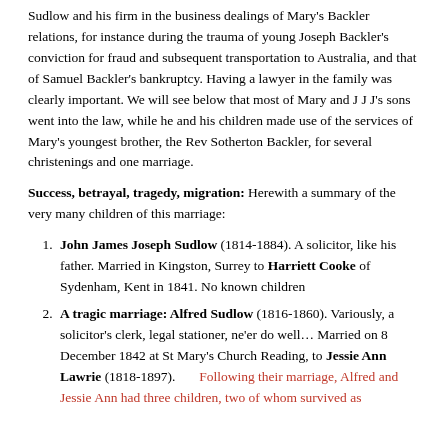Sudlow and his firm in the business dealings of Mary's Backler relations, for instance during the trauma of young Joseph Backler's conviction for fraud and subsequent transportation to Australia, and that of Samuel Backler's bankruptcy.  Having a lawyer in the family was clearly important.  We will see below that most of Mary and J J J's sons went into the law, while he and his children made use of the services of Mary's youngest brother, the Rev Sotherton Backler, for several christenings and one marriage.
Success, betrayal, tragedy, migration:  Herewith a summary of the very many children of this marriage:
John James Joseph Sudlow (1814-1884).  A solicitor, like his father. Married in Kingston, Surrey to Harriett Cooke of Sydenham, Kent in 1841.  No known children
A tragic marriage:  Alfred Sudlow (1816-1860). Variously, a solicitor's clerk, legal stationer, ne'er do well…  Married on 8 December 1842 at St Mary's Church Reading, to Jessie Ann Lawrie (1818-1897).        Following their marriage, Alfred and Jessie Ann had three children, two of whom survived as